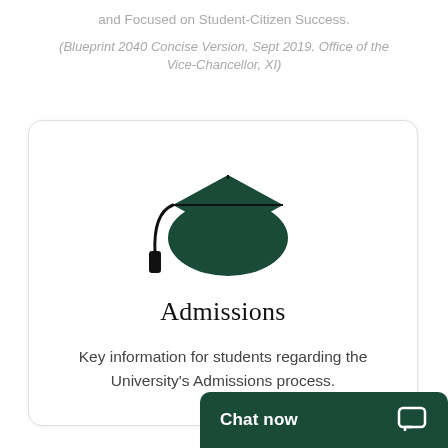and Focused on Student-Citizen Success.
(Blueprint 2040 Concise Version, Sept 2019. Office of the Vice-Chancellor, XI)
[Figure (illustration): Dark green graduation cap icon with tassel]
Admissions
Key information for students regarding the University's Admissions process.
Chat now